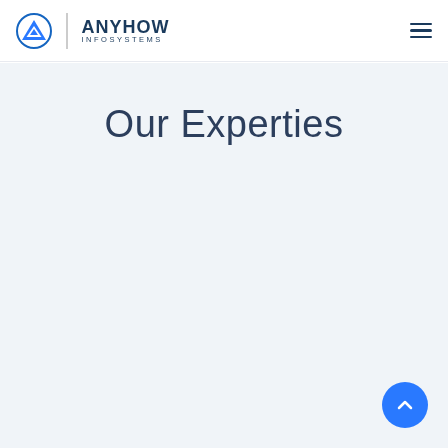[Figure (logo): Anyhow Infosystems logo with blue triangle icon, vertical divider, company name ANYHOW in bold dark navy and INFOSYSTEMS in small caps below, plus hamburger menu icon on the right]
Our Experties
[Figure (other): Circular blue scroll-to-top button with upward chevron arrow, positioned bottom right]